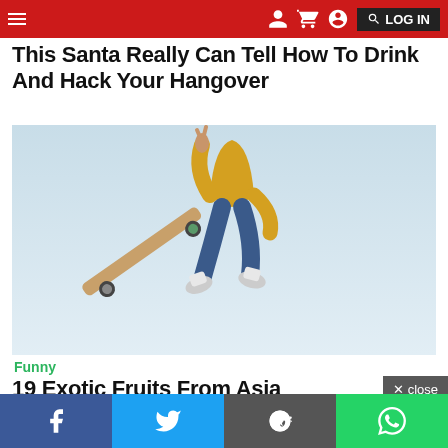Navigation bar with hamburger menu, social/share icons, and search button
This Santa Really Can Tell How To Drink And Hack Your Hangover
[Figure (photo): Person in yellow jacket performing a skateboard trick mid-air against a light blue sky background]
Funny
19 Exotic Fruits From Asia You've Probably
Social share bar: Facebook, Twitter, Reddit, WhatsApp